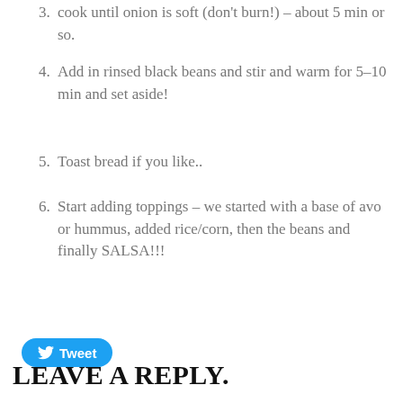cook until onion is soft (don't burn!) – about 5 min or so.
Add in rinsed black beans and stir and warm for 5–10 min and set aside!
Toast bread if you like..
Start adding toppings – we started with a base of avo or hummus, added rice/corn, then the beans and finally SALSA!!!
[Figure (other): Tweet button with Twitter bird icon]
LEAVE A REPLY.
Name (required)